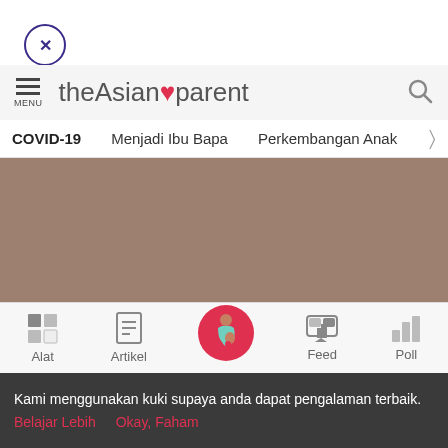[Figure (screenshot): Close button circle with X icon, top left corner]
[Figure (logo): theAsianparent logo with heart accent and hamburger menu icon on left, search icon on right]
COVID-19    Menjadi Ibu Bapa    Perkembangan Anak  >
[Figure (photo): Hero image with brownish-taupe background color block]
Conceiving A Baby
The all-new list of best fertility foods for women and
[Figure (screenshot): Bottom navigation bar with icons: Alat, Artikel, home (pregnant woman circle), Feed, Poll]
Kami menggunakan kuki supaya anda dapat pengalaman terbaik. Belajar Lebih    Okay, Faham